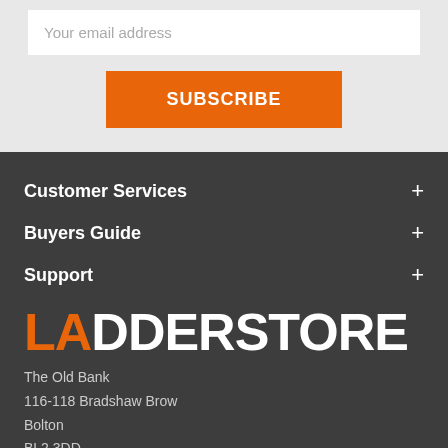Your email address
SUBSCRIBE
Customer Services
Buyers Guide
Support
[Figure (logo): LADDERSTORE logo in orange and white condensed uppercase text]
The Old Bank
116-118 Bradshaw Brow
Bolton
BL2 3DD
Tel: 01204 590 232
info@ladderstore.com